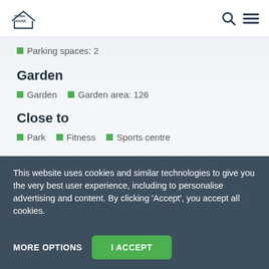ISTRIA HOUSE
Parking spaces: 2
Garden
Garden
Garden area: 126
Close to
Park
Fitness
Sports centre
This website uses cookies and similar technologies to give you the very best user experience, including to personalise advertising and content. By clicking 'Accept', you accept all cookies.
MORE OPTIONS
I ACCEPT